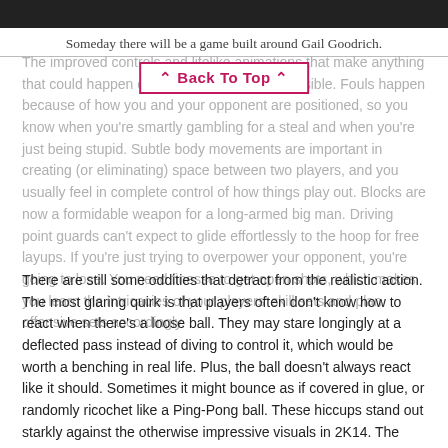[Figure (photo): Dark/black image strip at top of page]
Someday there will be a game built around Gail Goodrich.
The improved controls and lifelike animations that make anything that could happen on an NBA court seem possible. Fouls happen because of how you and your opponent are positioned, so you know when you're smartly gambling for a steal and when you're just being stupid. Subtle body movements are important in creating (or eliminating) space between two players, and you usually feel in complete control of how things play out. Blocks are now a formidable weapon for a long-armed big man. Driving point guards can't expect to glide effortlessly to the hoop for free layups. If you're just trying to overpower your opponent, you're going to lose. You need finesse to get open shots, which makes you learn the intricacies of your players' skill sets and plan offensive sets accordingly.
There are still some oddities that detract from the realistic action. The most glaring quirk is that players often don't know how to react when there's a loose ball. They may stare longingly at a deflected pass instead of diving to control it, which would be worth a benching in real life. Plus, the ball doesn't always react like it should. Sometimes it might bounce as if covered in glue, or randomly ricochet like a Ping-Pong ball. These hiccups stand out starkly against the otherwise impressive visuals in 2K14. The